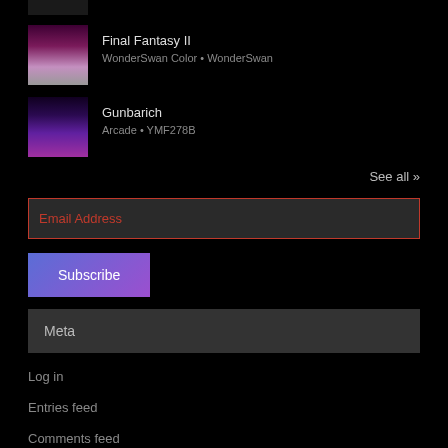[Figure (screenshot): Partially visible game thumbnail at top]
Final Fantasy II
WonderSwan Color • WonderSwan
Gunbarich
Arcade • YMF278B
See all »
Email Address
Subscribe
Meta
Log in
Entries feed
Comments feed
WordPress.org